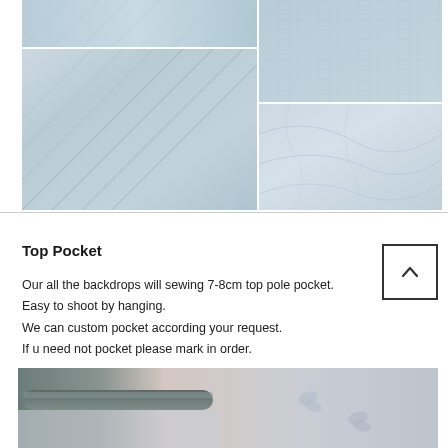[Figure (photo): Photo collage of light blue/grey fabric textures showing diagonal folds, weave texture, and draped smooth fabric in multiple panels]
Top Pocket
Our all the backdrops will sewing 7-8cm top pole pocket.
Easy to shoot by hanging.
We can custom pocket according your request.
If u need not pocket please mark in order.
[Figure (photo): Close-up photo of a pole/rod threaded through a pocket of a light colored backdrop fabric with butterfly/floral pattern visible]